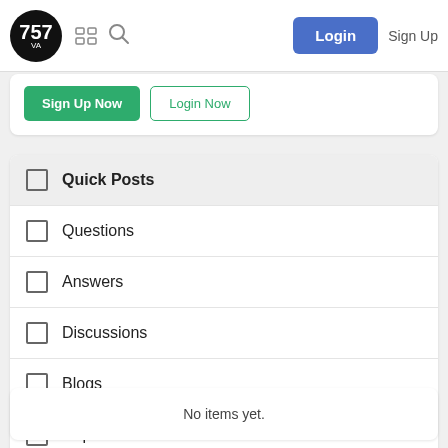757 VA — navbar with Login and Sign Up
Sign Up Now | Login Now
Quick Posts
Questions
Answers
Discussions
Blogs
Replies
No items yet.